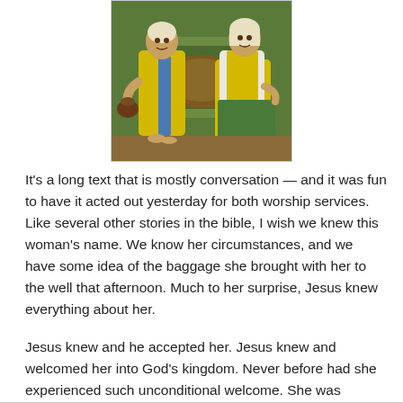[Figure (illustration): A stylized painting of two figures seated at a well. One figure in yellow robes holds a pot, the other in yellow and white robes sits across. The style is flat and cubist-like with bold colors (yellow, green, brown, blue).]
It's a long text that is mostly conversation — and it was fun to have it acted out yesterday for both worship services. Like several other stories in the bible, I wish we knew this woman's name.  We know her circumstances, and we have some idea of the baggage she brought with her to the well that afternoon. Much to her surprise, Jesus knew everything about her.
Jesus knew and he accepted her.  Jesus knew and welcomed her into God's kingdom.  Never before had she experienced such unconditional welcome.  She was